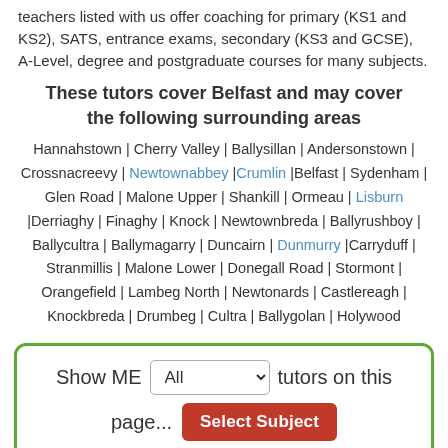teachers listed with us offer coaching for primary (KS1 and KS2), SATS, entrance exams, secondary (KS3 and GCSE), A-Level, degree and postgraduate courses for many subjects.
These tutors cover Belfast and may cover the following surrounding areas
Hannahstown | Cherry Valley | Ballysillan | Andersonstown | Crossnacreevy | Newtownabbey |Crumlin |Belfast | Sydenham | Glen Road | Malone Upper | Shankill | Ormeau | Lisburn |Derriaghy | Finaghy | Knock | Newtownbreda | Ballyrushboy | Ballycultra | Ballymagarry | Duncairn | Dunmurry |Carryduff | Stranmillis | Malone Lower | Donegall Road | Stormont | Orangefield | Lambeg North | Newtonards | Castlereagh | Knockbreda | Drumbeg | Cultra | Ballygolan | Holywood
Show ME All tutors on this page... Select Subject